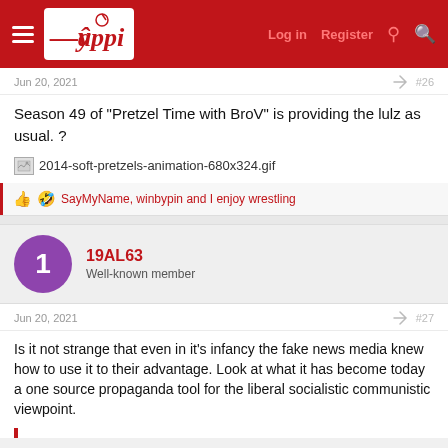Yappi — Log in | Register
Jun 20, 2021  #26
Season 49 of "Pretzel Time with BroV" is providing the lulz as usual. ?
[Figure (other): Broken image placeholder: 2014-soft-pretzels-animation-680x324.gif]
SayMyName, winbypin and I enjoy wrestling
19AL63 — Well-known member
Jun 20, 2021  #27
Is it not strange that even in it's infancy the fake news media knew how to use it to their advantage. Look at what it has become today a one source propaganda tool for the liberal socialistic communistic viewpoint.